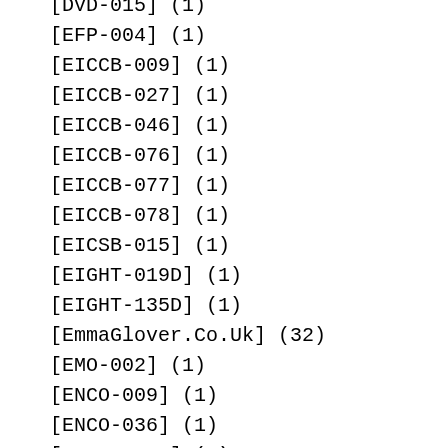[DVD-015] (1)
[EFP-004] (1)
[EICCB-009] (1)
[EICCB-027] (1)
[EICCB-046] (1)
[EICCB-076] (1)
[EICCB-077] (1)
[EICCB-078] (1)
[EICSB-015] (1)
[EIGHT-019D] (1)
[EIGHT-135D] (1)
[EmmaGlover.Co.Uk] (32)
[EMO-002] (1)
[ENCO-009] (1)
[ENCO-036] (1)
[ENFD-4196] (1)